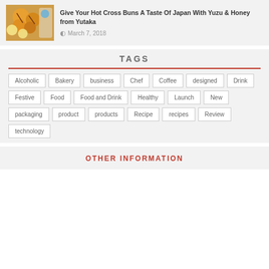[Figure (photo): Food photo showing hot cross buns with yellow dipping sauce]
Give Your Hot Cross Buns A Taste Of Japan With Yuzu & Honey from Yutaka
March 7, 2018
TAGS
Alcoholic
Bakery
business
Chef
Coffee
designed
Drink
Festive
Food
Food and Drink
Healthy
Launch
New
packaging
product
products
Recipe
recipes
Review
technology
OTHER INFORMATION